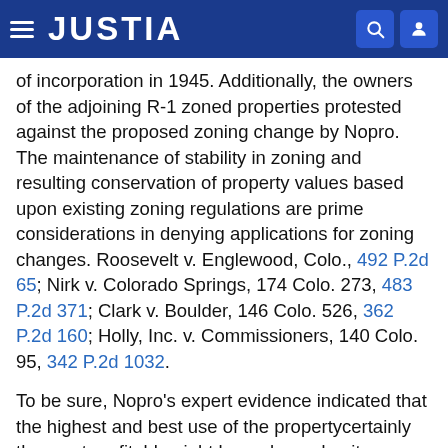JUSTIA
of incorporation in 1945. Additionally, the owners of the adjoining R-1 zoned properties protested against the proposed zoning change by Nopro. The maintenance of stability in zoning and resulting conservation of property values based upon existing zoning regulations are prime considerations in denying applications for zoning changes. Roosevelt v. Englewood, Colo., 492 P.2d 65; Nirk v. Colorado Springs, 174 Colo. 273, 483 P.2d 371; Clark v. Boulder, 146 Colo. 526, 362 P.2d 160; Holly, Inc. v. Commissioners, 140 Colo. 95, 342 P.2d 1032.
To be sure, Nopro's expert evidence indicated that the highest and best use of the propertycertainly the most profitablemight be a planned unit development allowing clustered sites of smaller dimensions than R-1 zoning permitted. However, validity of zoning regulations has never been determined by the highest and best use concept or in terms of dollars and cents profitability.